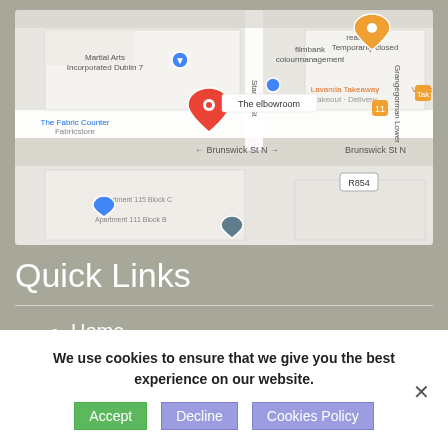[Figure (map): Google Maps screenshot showing The elbowroom location on Brunswick St N, Dublin, with surrounding businesses including Martial Arts Incorporated Dublin 7, filmbank colourmanagement, Lavanda Takeaway, The Fabric Counter, ready chef, and V-Fab. A red pin marks The elbowroom.]
Quick Links
Home
We use cookies to ensure that we give you the best experience on our website.
Accept   Decline   Cookies Policy